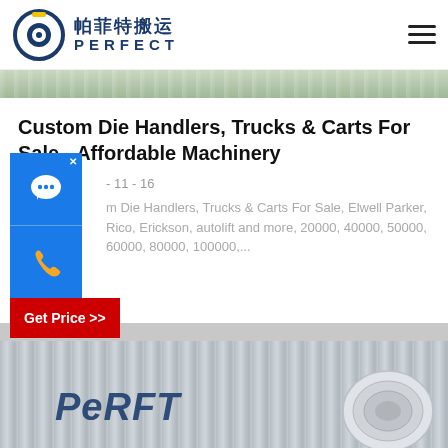[Figure (logo): Perfect company logo with blue circular icon and Chinese/English text '帕菲特搬运 PERFECT']
[Figure (photo): Thin horizontal banner strip showing grey/green industrial surface]
Custom Die Handlers, Trucks & Carts For Sale - Affordable Machinery
- 11 - 16
m Die Handlers, Trucks & Carts For Sale, Elwell Parker, Rico, Erickson, autolift and more, 20000, 40000, 50000, 60000, 80000, 100000,...
[Figure (other): Blue chat bubble widget with X close button, blue phone widget with orange handset icon, and red Get Price >> button]
[Figure (photo): Bottom industrial image with 'PERFT' logo text in blue italic and metallic coil/roll visible]